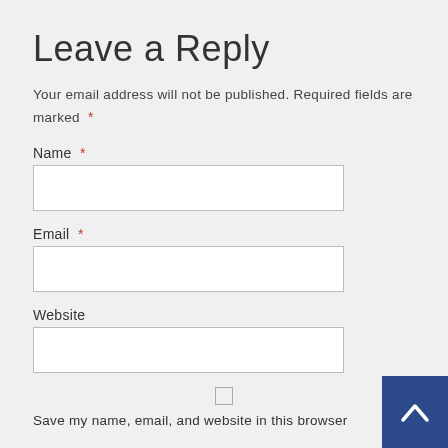Leave a Reply
Your email address will not be published. Required fields are marked *
Name *
[Figure (other): Text input field for Name]
Email *
[Figure (other): Text input field for Email]
Website
[Figure (other): Text input field for Website]
[Figure (other): Checkbox for Save my name]
Save my name, email, and website in this browser